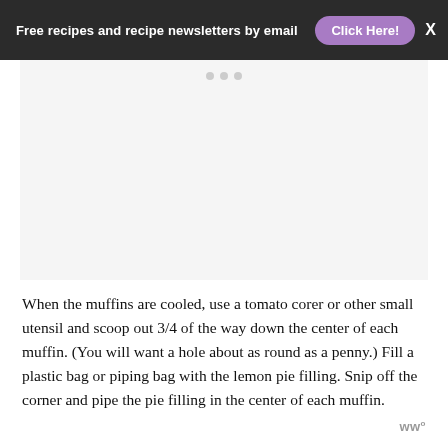Free recipes and recipe newsletters by email  Click Here!  X
[Figure (other): Advertisement placeholder area with three small gray dots]
When the muffins are cooled, use a tomato corer or other small utensil and scoop out 3/4 of the way down the center of each muffin. (You will want a hole about as round as a penny.) Fill a plastic bag or piping bag with the lemon pie filling. Snip off the corner and pipe the pie filling in the center of each muffin.
ww°